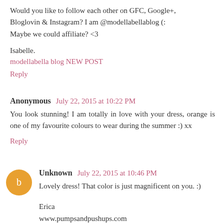Would you like to follow each other on GFC, Google+, Bloglovin & Instagram? I am @modellabellablog (:
Maybe we could affiliate? <3
Isabelle.
modellabella blog NEW POST
Reply
Anonymous  July 22, 2015 at 10:22 PM
You look stunning! I am totally in love with your dress, orange is one of my favourite colours to wear during the summer :) xx
Reply
Unknown  July 22, 2015 at 10:46 PM
Lovely dress! That color is just magnificent on you. :)
Erica
www.pumpsandpushups.com
Reply